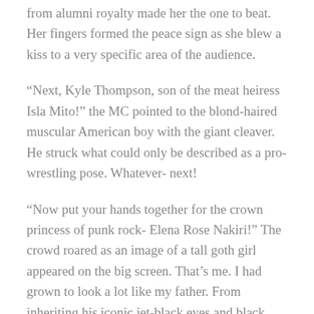from alumni royalty made her the one to beat. Her fingers formed the peace sign as she blew a kiss to a very specific area of the audience.
“Next, Kyle Thompson, son of the meat heiress Isla Mito!” the MC pointed to the blond-haired muscular American boy with the giant cleaver. He struck what could only be described as a pro-wrestling pose. Whatever- next!
“Now put your hands together for the crown princess of punk rock- Elena Rose Nakiri!” The crowd roared as an image of a tall goth girl appeared on the big screen. That’s me. I had grown to look a lot like my father. From inheriting his iconic jet-black eyes and black hair that Id